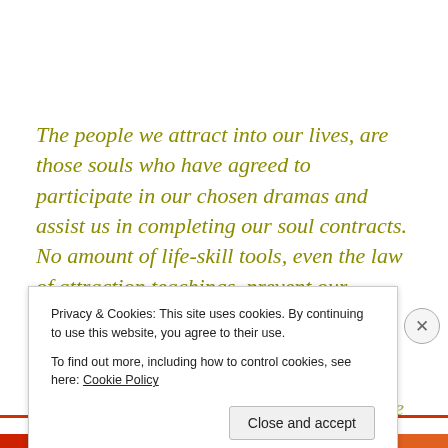The people we attract into our lives, are those souls who have agreed to participate in our chosen dramas and assist us in completing our soul contracts. No amount of life-skill tools, even the law of attraction teachings, prevent our unique soul contracts from being set up for us. Yet, their management, their potential outcomes, and the lessons gained from those chosen experiences are based
Privacy & Cookies: This site uses cookies. By continuing to use this website, you agree to their use.
To find out more, including how to control cookies, see here: Cookie Policy